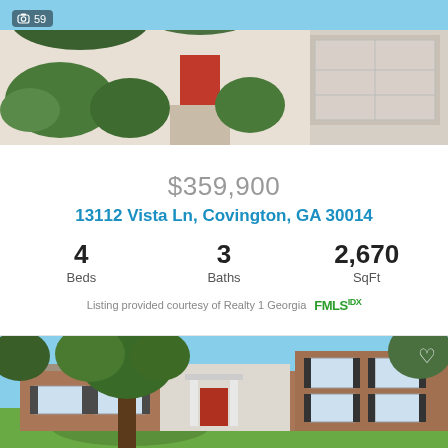[Figure (photo): Exterior photo of a residential home, top portion showing front walkway with shrubs and a red door, with a garage, overlaid with a camera icon and photo count badge reading 59]
$359,900
13112 Vista Ln, Covington, GA 30014
4 Beds  3 Baths  2,670 SqFt
Listing provided courtesy of Realty 1 Georgia FMLS IDX
[Figure (photo): Exterior photo of a single-story brick ranch home with a large tree in the front yard, green lawn, red front door, white shutters, and a second story section on the right side with a heart/favorite icon in the top-right corner]